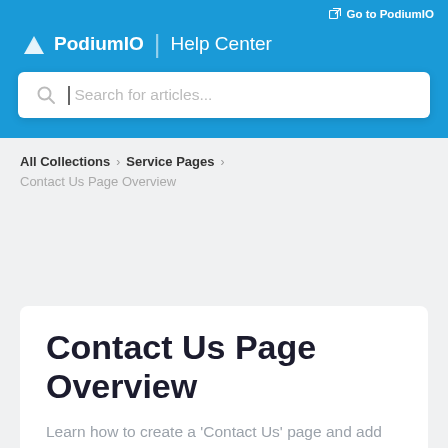Go to PodiumIO
PodiumIO | Help Center
[Figure (screenshot): Search bar with placeholder text 'Search for articles...']
All Collections > Service Pages > Contact Us Page Overview
Contact Us Page Overview
Learn how to create a 'Contact Us' page and add it to your website using PodiumIO.